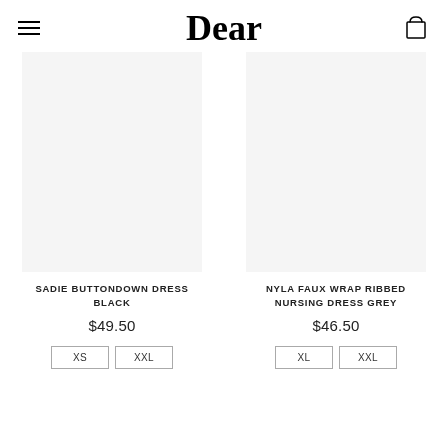Dear
SADIE BUTTONDOWN DRESS BLACK
$49.50
XS  XXL
NYLA FAUX WRAP RIBBED NURSING DRESS GREY
$46.50
XL  XXL